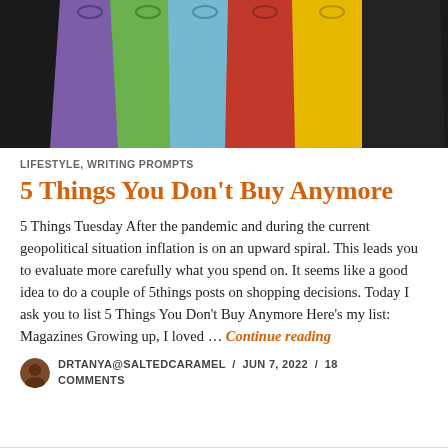[Figure (photo): Colorful paper shopping bags fanned out on a dark background — purple, green, light blue, red, yellow]
LIFESTYLE, WRITING PROMPTS
5 Things You Don't Buy Anymore
5 Things Tuesday After the pandemic and during the current geopolitical situation inflation is on an upward spiral. This leads you to evaluate more carefully what you spend on. It seems like a good idea to do a couple of 5things posts on shopping decisions. Today I ask you to list 5 Things You Don't Buy Anymore Here's my list: Magazines Growing up, I loved … Continue reading
DRTANYA@SALTEDCARAMEL  /  JUN 7, 2022  /  18 COMMENTS